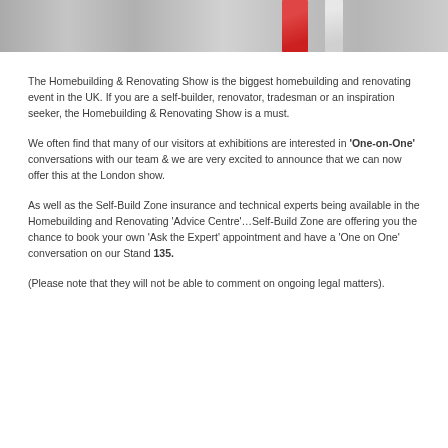[Figure (photo): Cropped photo showing people at an exhibition or event, partially visible at the top of the page]
The Homebuilding & Renovating Show is the biggest homebuilding and renovating event in the UK. If you are a self-builder, renovator, tradesman or an inspiration seeker, the Homebuilding & Renovating Show is a must.
We often find that many of our visitors at exhibitions are interested in ‘One-on-One’ conversations with our team & we are very excited to announce that we can now offer this at the London show.
As well as the Self-Build Zone insurance and technical experts being available in the Homebuilding and Renovating ‘Advice Centre’…Self-Build Zone are offering you the chance to book your own ‘Ask the Expert’ appointment and have a ‘One on One’ conversation on our Stand 135.
(Please note that they will not be able to comment on ongoing legal matters).